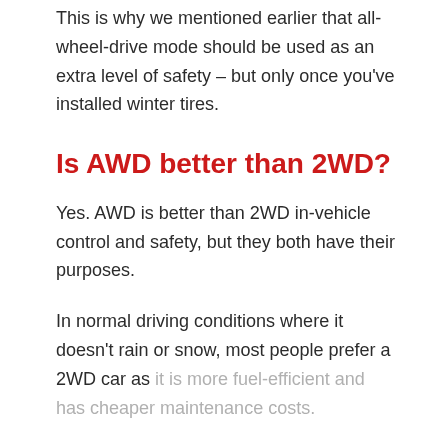This is why we mentioned earlier that all-wheel-drive mode should be used as an extra level of safety – but only once you've installed winter tires.
Is AWD better than 2WD?
Yes. AWD is better than 2WD in-vehicle control and safety, but they both have their purposes.
In normal driving conditions where it doesn't rain or snow, most people prefer a 2WD car as it is more fuel-efficient and has cheaper maintenance costs.